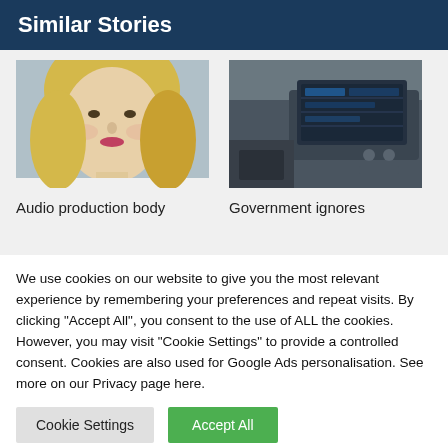Similar Stories
[Figure (photo): Close-up photo of a blonde woman's face]
[Figure (photo): Photo of a car dashboard/interior with a screen visible]
Audio production body
Government ignores
We use cookies on our website to give you the most relevant experience by remembering your preferences and repeat visits. By clicking "Accept All", you consent to the use of ALL the cookies. However, you may visit "Cookie Settings" to provide a controlled consent. Cookies are also used for Google Ads personalisation. See more on our Privacy page here.